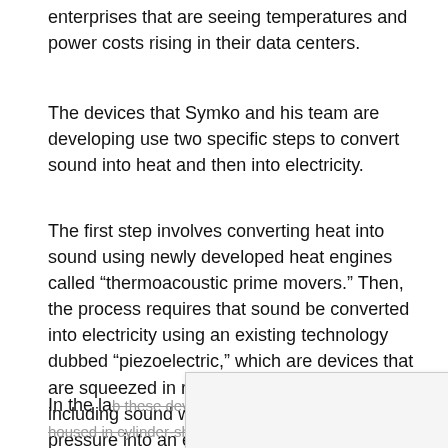enterprises that are seeing temperatures and power costs rising in their data centers.
The devices that Symko and his team are developing use two specific steps to convert sound into heat and then into electricity.
The first step involves converting heat into sound using newly developed heat engines called “thermoacoustic prime movers.” Then, the process requires that sound be converted into electricity using an existing technology dubbed “piezoelectric,” which are devices that are squeezed in response to pressure – including sound waves – and change that pressure into an electrical current.
In the la… these devices are housed in cylinder-shaped resonato…